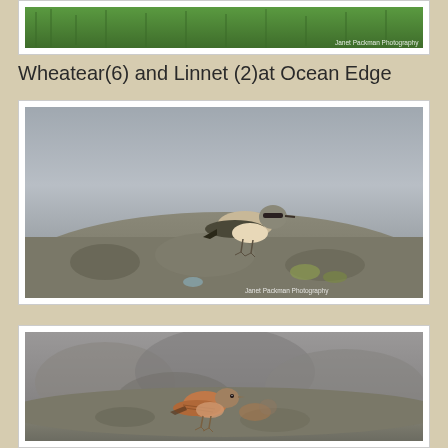[Figure (photo): Partial top photo showing green grass with a watermark 'Janet Packman Photography']
Wheatear(6) and Linnet (2)at Ocean Edge
[Figure (photo): Photo of a Wheatear bird perched on a rocky surface with grey sky background. Watermark reads 'Janet Packman Photography']
[Figure (photo): Photo of a Linnet bird perched on rocks against a blurred rocky background.]